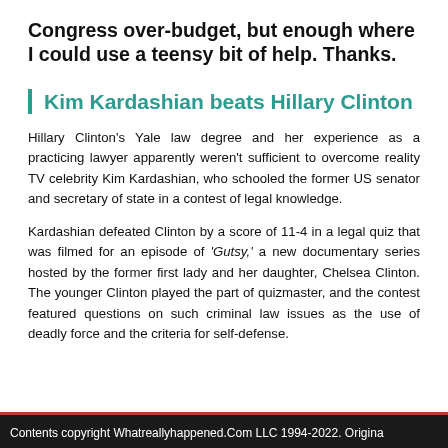Congress over-budget, but enough where I could use a teensy bit of help. Thanks.
Kim Kardashian beats Hillary Clinton
Hillary Clinton's Yale law degree and her experience as a practicing lawyer apparently weren't sufficient to overcome reality TV celebrity Kim Kardashian, who schooled the former US senator and secretary of state in a contest of legal knowledge.
Kardashian defeated Clinton by a score of 11-4 in a legal quiz that was filmed for an episode of 'Gutsy,' a new documentary series hosted by the former first lady and her daughter, Chelsea Clinton. The younger Clinton played the part of quizmaster, and the contest featured questions on such criminal law issues as the use of deadly force and the criteria for self-defense.
Contents copyright Whatreallyhappened.Com LLC 1994-2022. Origina